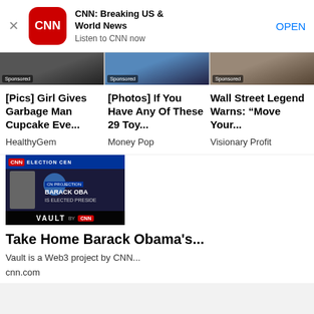[Figure (screenshot): CNN app install banner with CNN logo, title 'CNN: Breaking US & World News', subtitle 'Listen to CNN now', and OPEN button]
[Figure (photo): Three sponsored image tiles in a row, each labeled 'Sponsored']
[Pics] Girl Gives Garbage Man Cupcake Eve...
HealthyGem
[Photos] If You Have Any Of These 29 Toy...
Money Pop
Wall Street Legend Warns: “Move Your...
Visionary Profit
[Figure (screenshot): CNN Vault thumbnail showing Barack Obama election night CNN coverage with 'VAULT BY CNN' text overlay]
Take Home Barack Obama's...
Vault is a Web3 project by CNN...
cnn.com